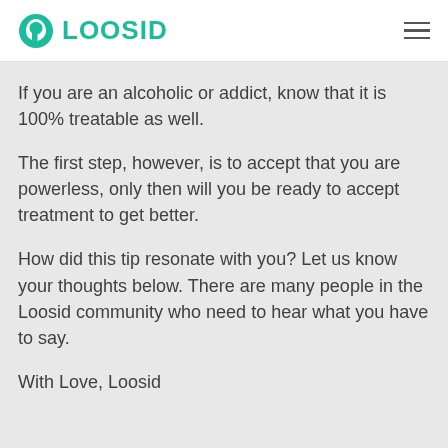LOOSID
If you are an alcoholic or addict, know that it is 100% treatable as well.
The first step, however, is to accept that you are powerless, only then will you be ready to accept treatment to get better.
How did this tip resonate with you? Let us know your thoughts below. There are many people in the Loosid community who need to hear what you have to say.
With Love, Loosid